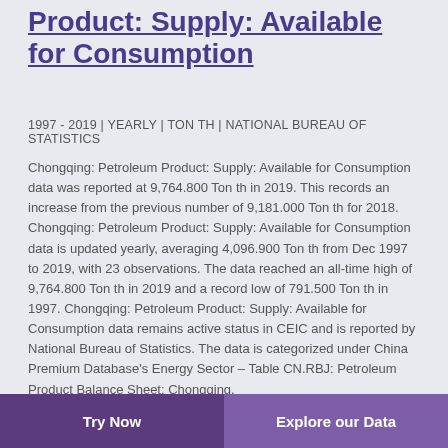Product: Supply: Available for Consumption
1997 - 2019 | YEARLY | TON TH | NATIONAL BUREAU OF STATISTICS
Chongqing: Petroleum Product: Supply: Available for Consumption data was reported at 9,764.800 Ton th in 2019. This records an increase from the previous number of 9,181.000 Ton th for 2018. Chongqing: Petroleum Product: Supply: Available for Consumption data is updated yearly, averaging 4,096.900 Ton th from Dec 1997 to 2019, with 23 observations. The data reached an all-time high of 9,764.800 Ton th in 2019 and a record low of 791.500 Ton th in 1997. Chongqing: Petroleum Product: Supply: Available for Consumption data remains active status in CEIC and is reported by National Bureau of Statistics. The data is categorized under China Premium Database's Energy Sector – Table CN.RBJ: Petroleum Product Balance Sheet: Chongqing.
Try Now | Explore our Data